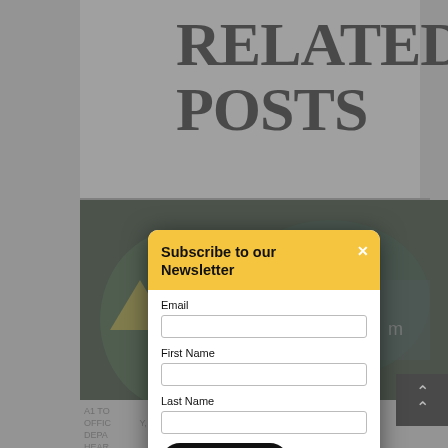RELATED POSTS
[Figure (photo): Dark photo of people, partially obscured by modal overlay]
A1 TO... OFFICIALS... DEPA... HEAR... JUSTI...
[Figure (screenshot): Newsletter subscription modal with yellow header, email/first name/last name fields, Subscribe button, and privacy notice footer]